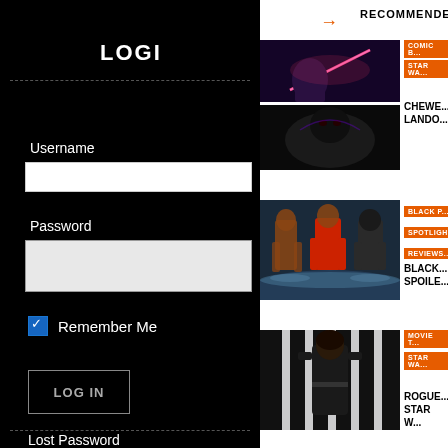LOGIN
Username
Password
Remember Me
LOG IN
Lost Password
© Copyright Your Site Name
RECOMMENDED
[Figure (photo): Comic book style image of a character with lightsaber, two panels stacked]
COMIC B... STAR WA...
CHEWE... LANDO...
[Figure (photo): Action scene with shirtless muscular characters in water, Black Panther]
BLACK P... SPOTLIGH... REVIEWS...
BLACK... SPOILE...
[Figure (photo): Woman in black uniform standing in a futuristic corridor, Rogue One]
MOVIE T... STAR WA...
ROGUE... STAR W...